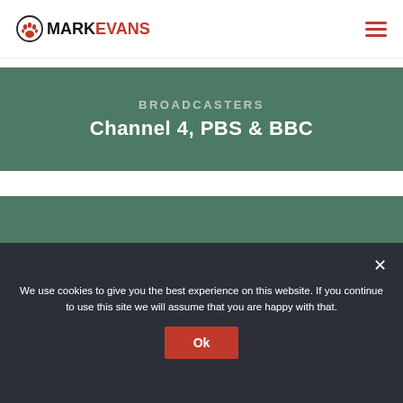MARKEVANS — navigation logo and hamburger menu
BROADCASTERS
Channel 4, PBS & BBC
[Figure (other): Green background content/video placeholder area]
We use cookies to give you the best experience on this website. If you continue to use this site we will assume that you are happy with that.